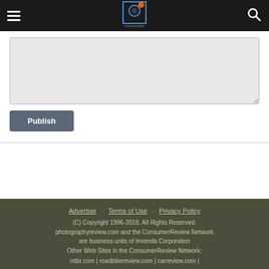Photography Review — navigation header with hamburger menu, logo, and search icon
[Figure (screenshot): Text area input field with light gray background]
Publish
Advertise · Terms of Use · Privacy Policy
(C) Copyright 1996-2018. All Rights Reserved.
photographyreview.com and the ConsumerReview Network are business units of Invenda Corporation
Other Web Sites in the ConsumerReview Network:
mtbr.com | roadbikereview.com | carreview.com |